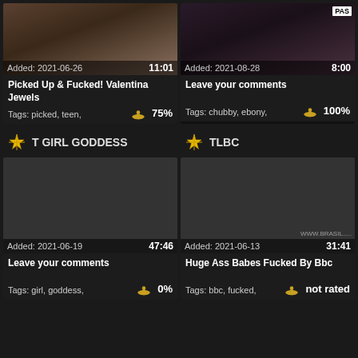[Figure (screenshot): Video thumbnail - Picked Up & Fucked! Valentina Jewels, Added: 2021-06-26, Duration: 11:01]
Picked Up & Fucked! Valentina Jewels
Tags: picked, teen,  75%
[Figure (screenshot): Video thumbnail - Leave your comments, Added: 2021-08-28, Duration: 8:00]
Leave your comments
Tags: chubby, ebony,  100%
T GIRL GODDESS
TLBC
[Figure (screenshot): Video thumbnail - Leave your comments, Added: 2021-06-19, Duration: 47:46]
Leave your comments
Tags: girl, goddess,  0%
[Figure (screenshot): Video thumbnail - Huge Ass Babes Fucked By Bbc, Added: 2021-06-13, Duration: 31:41]
Huge Ass Babes Fucked By Bbc
Tags: bbc, fucked,  not rated